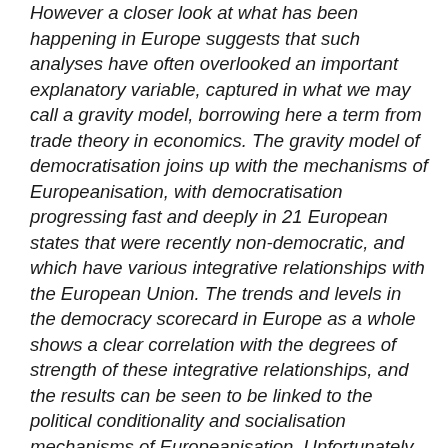However a closer look at what has been happening in Europe suggests that such analyses have often overlooked an important explanatory variable, captured in what we may call a gravity model, borrowing here a term from trade theory in economics. The gravity model of democratisation joins up with the mechanisms of Europeanisation, with democratisation progressing fast and deeply in 21 European states that were recently non-democratic, and which have various integrative relationships with the European Union. The trends and levels in the democracy scorecard in Europe as a whole shows a clear correlation with the degrees of strength of these integrative relationships, and the results can be seen to be linked to the political conditionality and socialisation mechanisms of Europeanisation. Unfortunately for the advocates of universal democracy, other continents are presently unable to organise or access something similar, even Latin America where the US might have been expected to play more of an analogous role, and even less the Arab/Islamic world where the Afghanistan and Iraq